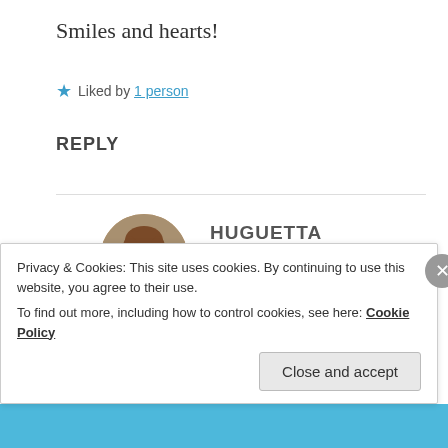Smiles and hearts!
★ Liked by 1 person
REPLY
[Figure (photo): Round avatar photo of Huguetta, a woman with medium-length brown hair wearing a light-colored top, photographed indoors.]
HUGUETTA
18 Apr 2019 at 12:02 am
I mean I might leave this platform or simply disappear as many do and post every now
Privacy & Cookies: This site uses cookies. By continuing to use this website, you agree to their use.
To find out more, including how to control cookies, see here: Cookie Policy
Close and accept